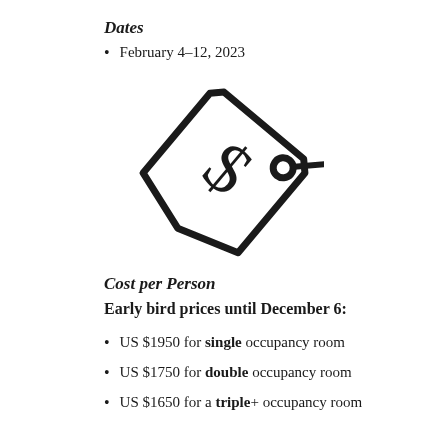Dates
February 4–12, 2023
[Figure (illustration): Price tag icon with a dollar sign, drawn in black outline style]
Cost per Person
Early bird prices until December 6:
US $1950 for single occupancy room
US $1750 for double occupancy room
US $1650 for a triple+ occupancy room